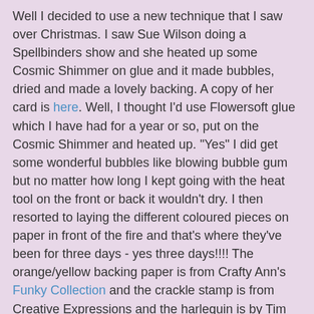Well I decided to use a new technique that I saw over Christmas.  I saw Sue Wilson doing a Spellbinders show and she heated up some Cosmic Shimmer on glue and it made bubbles, dried and made a lovely backing.  A copy of her card is here.  Well, I thought I'd use Flowersoft glue which I have had for a year or so, put on the Cosmic Shimmer and heated up.  "Yes" I did get some wonderful bubbles like blowing bubble gum but no matter how long I kept going with the heat tool on the front or back it wouldn't dry.  I then resorted to laying the different coloured pieces on paper in front of the fire and that's where they've been for three days - yes three days!!!!  The orange/yellow backing paper is from Crafty Ann's Funky Collection and the crackle stamp is from Creative Expressions and the harlequin is by Tim Holtz.  The daffodils image is from Crafty Ann's and I have coloured it in with Promarkers and decoupaged it up for change.  The card is finished off with ribbon, Crafty Ann's ticket sentiment and card candy.
New item - using a glue/Cosmic Shimmer technique and trying different things with stamping on